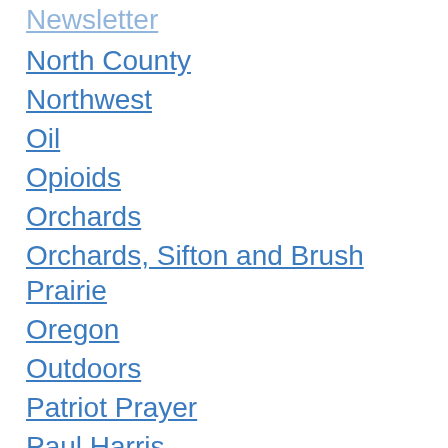Newsletter
North County
Northwest
Oil
Opioids
Orchards
Orchards, Sifton and Brush Prairie
Oregon
Outdoors
Patriot Prayer
Paul Harris
Pets
Photos
police
Politics
Port of Camas-Washougal